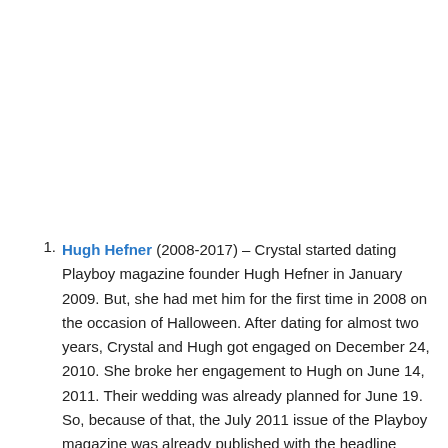Hugh Hefner (2008-2017) – Crystal started dating Playboy magazine founder Hugh Hefner in January 2009. But, she had met him for the first time in 2008 on the occasion of Halloween. After dating for almost two years, Crystal and Hugh got engaged on December 24, 2010. She broke her engagement to Hugh on June 14, 2011. Their wedding was already planned for June 19. So, because of that, the July 2011 issue of the Playboy magazine was already published with the headline "Introducing America's Princess, Mrs. Crystal